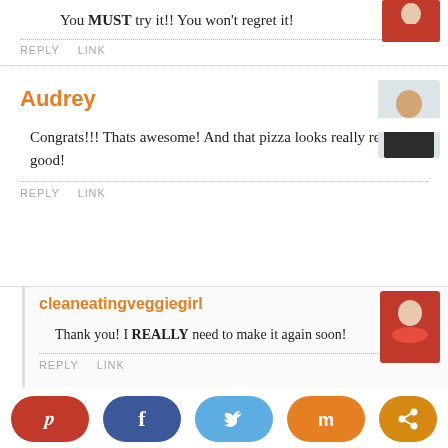You MUST try it!! You won't regret it!
REPLY   LINK
Audrey
[Figure (photo): Avatar photo of Audrey, woman in white top seated outdoors]
Congrats!!! Thats awesome! And that pizza looks really really good!
REPLY   LINK
cleaneatingveggiegirl
[Figure (photo): Avatar photo of cleaneatingveggiegirl, woman in red scarf]
Thank you! I REALLY need to make it again soon!
REPLY   LINK
[Figure (infographic): Social share bar with Pinterest, Facebook, Twitter, Mix, and share buttons]